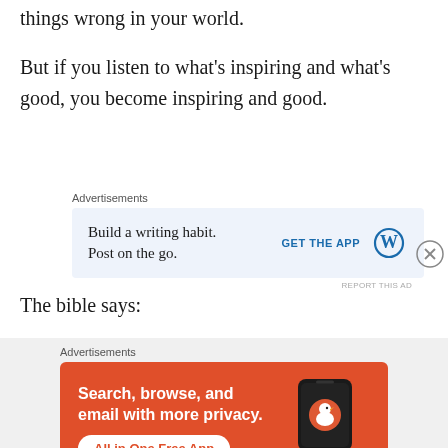things wrong in your world.
But if you listen to what's inspiring and what's good, you become inspiring and good.
Advertisements
[Figure (other): WordPress app advertisement: 'Build a writing habit. Post on the go.' with 'GET THE APP' button and WordPress logo]
The bible says:
Advertisements
[Figure (other): DuckDuckGo advertisement: 'Search, browse, and email with more privacy. All in One Free App' with phone mockup showing DuckDuckGo logo]